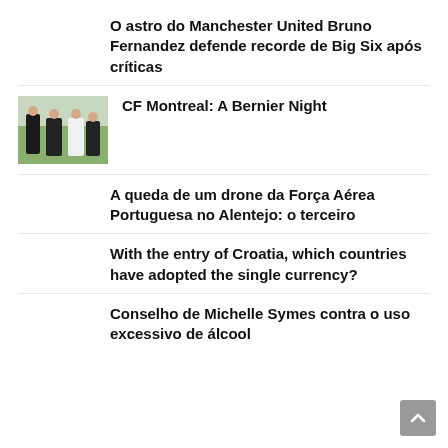O astro do Manchester United Bruno Fernandez defende recorde de Big Six após críticas
[Figure (photo): Soccer players in dark uniforms grouped together on a field, partly visible referee on the left]
CF Montreal: A Bernier Night
A queda de um drone da Força Aérea Portuguesa no Alentejo: o terceiro
With the entry of Croatia, which countries have adopted the single currency?
Conselho de Michelle Symes contra o uso excessivo de álcool